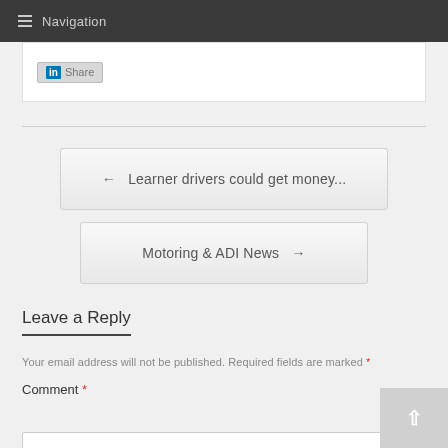Navigation
[Figure (screenshot): LinkedIn Share button]
← Learner drivers could get money...
Motoring & ADI News →
Leave a Reply
Your email address will not be published. Required fields are marked *
Comment *